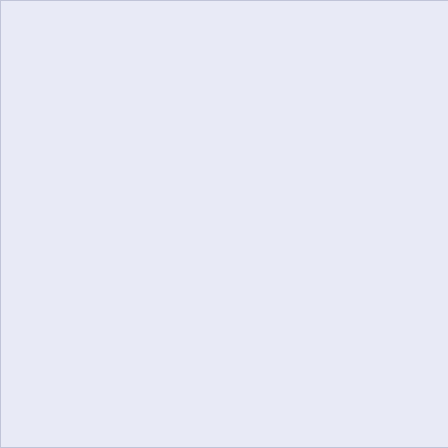[Figure (other): Light blue/lavender empty content area panel on the left side of the page]
July 1999
June 1999
May 1999
April 1999
March 1999
February 1999
January 1999
December 1998
November 1998
October 1998
September 1998
August 1998
July 1998
June 1998
May 1998
April 1998
March 1998
February 1998
January 1998
December 1997
November 1997
October 1997
September 1997
August 1997
July 1997
June 1997
May 1997
April 1997
March 1997
February 1997
January 1997
December 1996